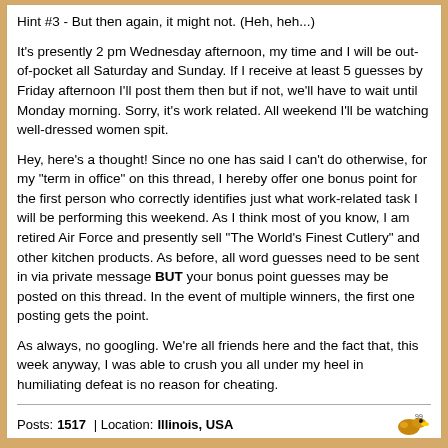Hint #3 - But then again, it might not. (Heh, heh...)
It's presently 2 pm Wednesday afternoon, my time and I will be out-of-pocket all Saturday and Sunday. If I receive at least 5 guesses by Friday afternoon I'll post them then but if not, we'll have to wait until Monday morning. Sorry, it's work related. All weekend I'll be watching well-dressed women spit.
Hey, here's a thought! Since no one has said I can't do otherwise, for my "term in office" on this thread, I hereby offer one bonus point for the first person who correctly identifies just what work-related task I will be performing this weekend. As I think most of you know, I am retired Air Force and presently sell "The World's Finest Cutlery" and other kitchen products. As before, all word guesses need to be sent in via private message BUT your bonus point guesses may be posted on this thread. In the event of multiple winners, the first one posting gets the point.
As always, no googling. We're all friends here and the fact that, this week anyway, I was able to crush you all under my heel in humiliating defeat is no reason for cheating.
Posts: 1517 | Location: Illinois, USA